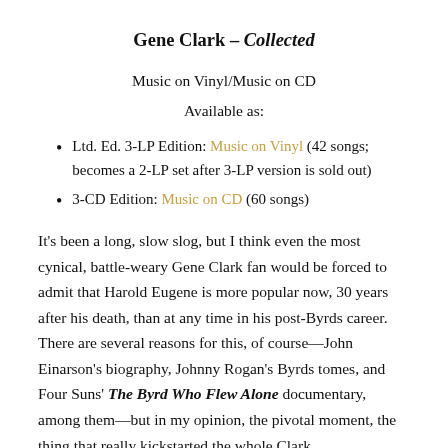Gene Clark – Collected
Music on Vinyl/Music on CD
Available as:
Ltd. Ed. 3-LP Edition: Music on Vinyl (42 songs; becomes a 2-LP set after 3-LP version is sold out)
3-CD Edition: Music on CD (60 songs)
It's been a long, slow slog, but I think even the most cynical, battle-weary Gene Clark fan would be forced to admit that Harold Eugene is more popular now, 30 years after his death, than at any time in his post-Byrds career. There are several reasons for this, of course—John Einarson's biography, Johnny Rogan's Byrds tomes, and Four Suns' The Byrd Who Flew Alone documentary, among them—but in my opinion, the pivotal moment, the thing that really kickstarted the whole Clark